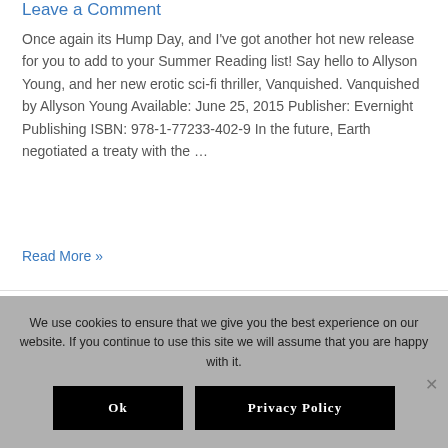Leave a Comment
Once again its Hump Day, and I've got another hot new release for you to add to your Summer Reading list! Say hello to Allyson Young, and her new erotic sci-fi thriller, Vanquished. Vanquished by Allyson Young Available: June 25, 2015 Publisher: Evernight Publishing ISBN: 978-1-77233-402-9 In the future, Earth negotiated a treaty with the …
Read More »
NEW RELEASE: Morgan
We use cookies to ensure that we give you the best experience on our website. If you continue to use this site we will assume that you are happy with it.
Ok    Privacy Policy